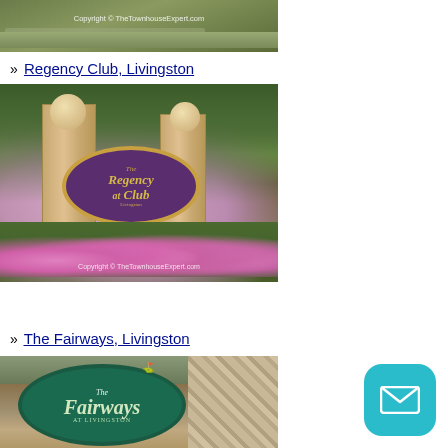[Figure (photo): Top partial photo of a road/driveway with greenery and copyright watermark 'Copyright © TheTownhouseExpert.com']
» Regency Club, Livingston
[Figure (photo): Photo of the entrance sign for 'The Regency Club at Livingston' — stone pillars with decorative balls, purple oval sign with gold lettering, pink flowers in foreground. Copyright © TheTownhouseExpert.com]
» The Fairways, Livingston
[Figure (photo): Photo of the entrance sign for 'The Fairways at Livingston' — green oval sign with white/light script lettering, stone wall in background.]
[Figure (other): Teal rounded square email/message button icon in bottom-right corner]